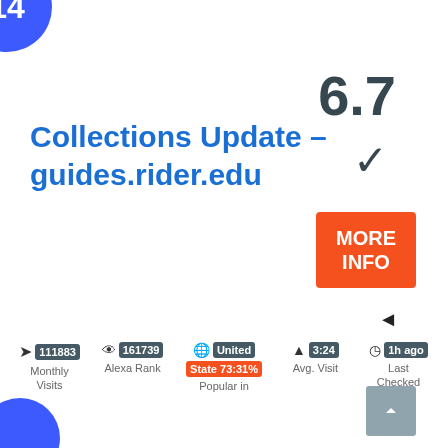[Figure (infographic): Blue circular badge showing number 14 in top-left corner]
Collections Update – guides.rider.edu
6.7
[Figure (infographic): Orange MORE INFO button]
▲ left-pointing arrow
111883 Monthly Visits | 161739 Alexa Rank | United State 73:31% Popular in | 3:24 Avg. Visit | 1h ago Last Checked
[Figure (infographic): Gray scroll-up button with upward chevron arrow]